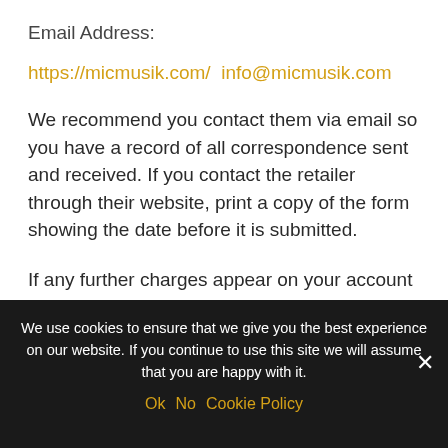Email Address:
https://micmusik.com/  info@micmusik.com
We recommend you contact them via email so you have a record of all correspondence sent and received. If you contact the retailer through their website, print a copy of the form showing the date before it is submitted.
If any further charges appear on your account after
We use cookies to ensure that we give you the best experience on our website. If you continue to use this site we will assume that you are happy with it.
Ok   No   Cookie Policy